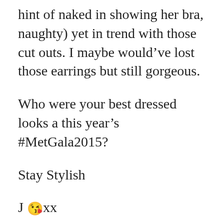hint of naked in showing her bra, naughty) yet in trend with those cut outs. I maybe would've lost those earrings but still gorgeous.
Who were your best dressed looks a this year's #MetGala2015?
Stay Stylish
J 😘xx
SHARE THIS:
Twitter  Facebook